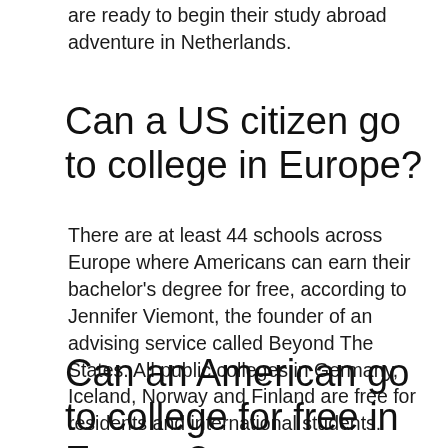are ready to begin their study abroad adventure in Netherlands.
Can a US citizen go to college in Europe?
There are at least 44 schools across Europe where Americans can earn their bachelor's degree for free, according to Jennifer Viemont, the founder of an advising service called Beyond The States. All public colleges in Germany, Iceland, Norway and Finland are free for residents and international students.
Can an American go to college for free in Europe?